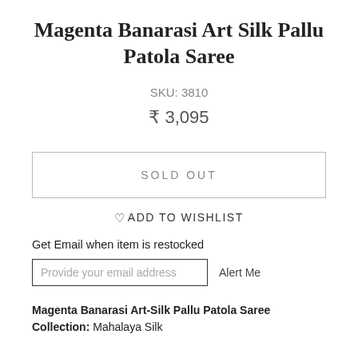Magenta Banarasi Art Silk Pallu Patola Saree
SKU: 3810
₹ 3,095
SOLD OUT
♡ ADD TO WISHLIST
Get Email when item is restocked
Provide your email address  Alert Me
Magenta Banarasi Art-Silk Pallu Patola Saree
Collection: Mahalaya Silk